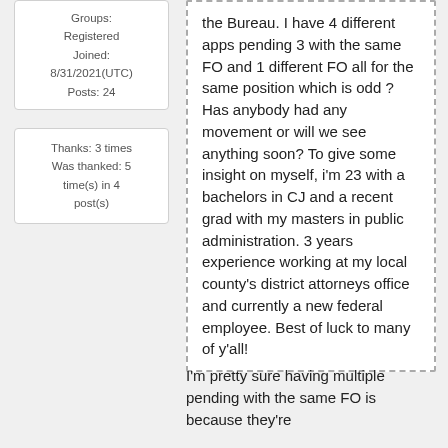Groups: Registered
Joined: 8/31/2021(UTC)
Posts: 24
Thanks: 3 times
Was thanked: 5 time(s) in 4 post(s)
the Bureau. I have 4 different apps pending 3 with the same FO and 1 different FO all for the same position which is odd ? Has anybody had any movement or will we see anything soon? To give some insight on myself, i'm 23 with a bachelors in CJ and a recent grad with my masters in public administration. 3 years experience working at my local county's district attorneys office and currently a new federal employee. Best of luck to many of y'all!
I'm pretty sure having multiple pending with the same FO is because they're